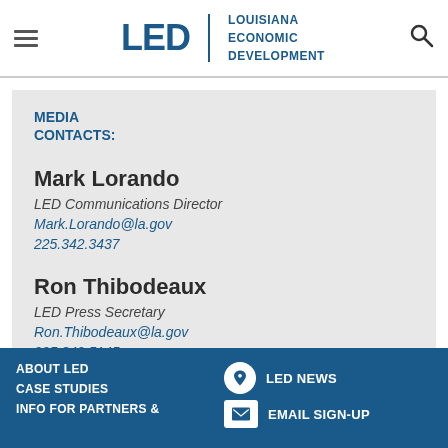LED Louisiana Economic Development
MEDIA CONTACTS:
Mark Lorando
LED Communications Director
Mark.Lorando@la.gov
225.342.3437
Ron Thibodeaux
LED Press Secretary
Ron.Thibodeaux@la.gov
225.342.5145
ABOUT LED | CASE STUDIES | INFO FOR PARTNERS & | LED NEWS | EMAIL SIGN-UP